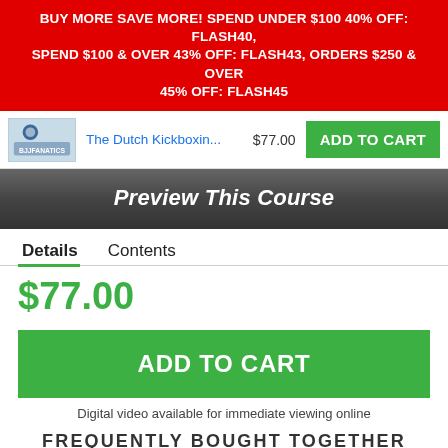BUY MORE SAVE MORE! SPEND UNDER $100 40% OFF: FLASH40, SPEND $100 & OVER 43% OFF: FLASH43, ORDERS $250 & OVER 45% OFF: FLASH45
The Dutch Kickboxin...  $77.00  ADD TO CART
[Figure (screenshot): Preview This Course banner with dark gradient background and bold italic white text]
Details   Contents
$77.00
ADD TO CART
Digital video available for immediate viewing online
FREQUENTLY BOUGHT TOGETHER
[Figure (photo): Three course thumbnail images: Combinations & Clinch Work, How To Pass Guard Quickly & Easily, Foundations Of...]